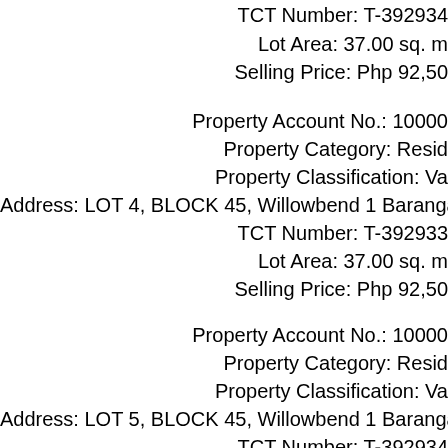TCT Number: T-392934
Lot Area: 37.00 sq. m
Selling Price: Php 92,50
Property Account No.: 10000
Property Category: Resid
Property Classification: Va
Address: LOT 4, BLOCK 45, Willowbend 1 Baranga
TCT Number: T-392933
Lot Area: 37.00 sq. m
Selling Price: Php 92,50
Property Account No.: 10000
Property Category: Resid
Property Classification: Va
Address: LOT 5, BLOCK 45, Willowbend 1 Baranga
TCT Number: T-392934